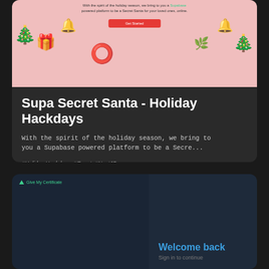[Figure (screenshot): Screenshot of a holiday-themed app card for 'Supa Secret Santa - Holiday Hackdays' showing a pink Christmas-decorated banner at the top]
Supa Secret Santa - Holiday Hackdays
With the spirit of the holiday season, we bring to you a Supabase powered platform to be a Secre...
#Holiday Hackdays #React #NextJS #TailwindCSS #Supabase #Prisma
51
[Figure (screenshot): Partial screenshot of a 'Welcome back - Sign in to continue' login page with a blue/dark color scheme]